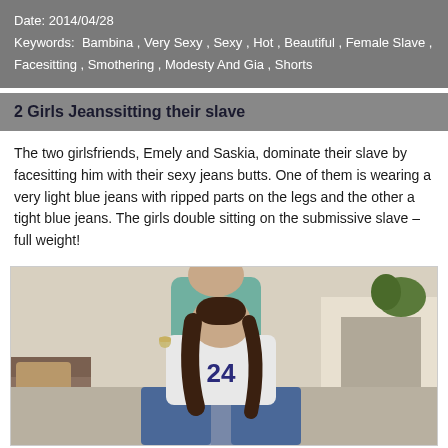Date: 2014/04/28
Keywords: Bambina , Very Sexy , Sexy , Hot , Beautiful , Female Slave , Facesitting , Smothering , Modesty And Gia , Shorts
2 Girls Jeanssitting their slave
The two girlsfriends, Emely and Saskia, dominate their slave by facesitting him with their sexy jeans butts. One of them is wearing a very light blue jeans with ripped parts on the legs and the other a tight blue jeans. The girls double sitting on the submissive slave – full weight!
[Figure (photo): Photo of two women, one sitting on another person, wearing jeans. One woman wearing a white top with number 24, with long dark hair, sitting in front of a fireplace and couch. Another person in a teal top visible behind.]